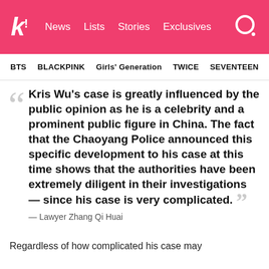k! News Lists Stories Exclusives
BTS BLACKPINK Girls' Generation TWICE SEVENTEEN
Kris Wu's case is greatly influenced by the public opinion as he is a celebrity and a prominent public figure in China. The fact that the Chaoyang Police announced this specific development to his case at this time shows that the authorities have been extremely diligent in their investigations — since his case is very complicated.
— Lawyer Zhang Qi Huai
Regardless of how complicated his case may